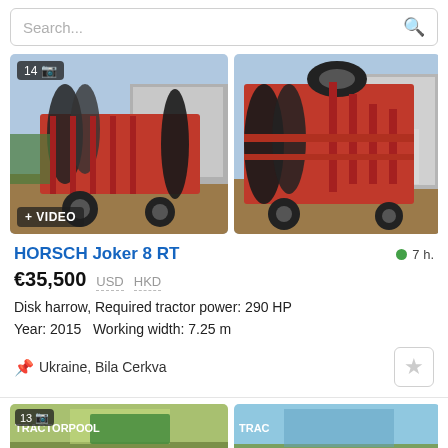Search...
[Figure (photo): Red HORSCH Joker 8 RT disk harrow with black roller discs, folded, in yard near metal building. Badge shows '14' photos and camera icon. Video badge visible.]
[Figure (photo): Red HORSCH Joker 8 RT disk harrow, side/rear view, folded upright, in yard near metal building.]
HORSCH Joker 8 RT
7 h.
€35,500   USD   HKD
Disk harrow, Required tractor power: 290 HP
Year: 2015   Working width: 7.25 m
Ukraine, Bila Cerkva
[Figure (photo): Partial thumbnail of farm equipment in field (bottom listing), badge shows '13' photos.]
[Figure (photo): Partial thumbnail of farm equipment in field (bottom listing, second image).]